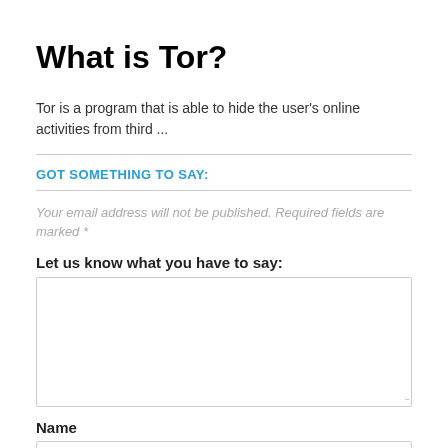What is Tor?
Tor is a program that is able to hide the user's online activities from third ...
GOT SOMETHING TO SAY:
Your email address will not be published. Required fields are marked *
Let us know what you have to say:
[Figure (other): Large textarea input box for comment submission]
Name
[Figure (other): Single-line text input box for name entry]